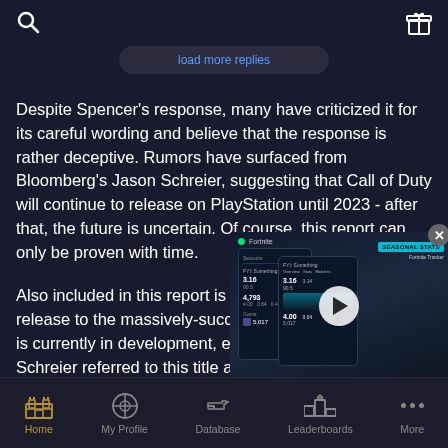[Search icon] [Gift icon]
[Figure (screenshot): Partially visible collapsed button with blue text 'load more replies']
Despite Spencer's response, many have criticized it for its careful wording and believe that the response is rather deceptive. Rumors have surfaced from Bloomberg's Jason Schreier, suggesting that Call of Duty will continue to release on PlayStation until 2023 - after that, the future is uncertain. Of course, this report can only be proven with time.
Also included in this report is a release to the massively-succes is currently in development, exp Schreier referred to this title as
[Figure (screenshot): Video overlay showing a mobile app screenshot with stats/leaderboard data, a play button, SEASONAL STATS badge, green dot indicator, and a close (X) button]
Home  My Profile  Database  Leaderboards  More